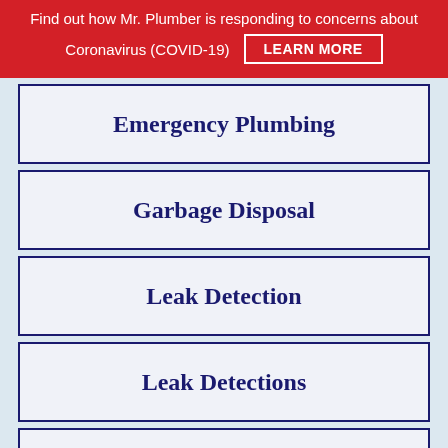Find out how Mr. Plumber is responding to concerns about Coronavirus (COVID-19) LEARN MORE
Emergency Plumbing
Garbage Disposal
Leak Detection
Leak Detections
Plumbing